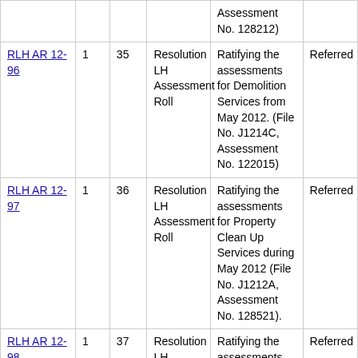| File No. | Ward | Item | Type | Description | Action |
| --- | --- | --- | --- | --- | --- |
|  |  |  |  | Assessment No. 128212) |  |
| RLH AR 12-96 | 1 | 35 | Resolution LH Assessment Roll | Ratifying the assessments for Demolition Services from May 2012. (File No. J1214C, Assessment No. 122015) | Referred |
| RLH AR 12-97 | 1 | 36 | Resolution LH Assessment Roll | Ratifying the assessments for Property Clean Up Services during May 2012 (File No. J1212A, Assessment No. 128521). | Referred |
| RLH AR 12-98 | 1 | 37 | Resolution LH Assessment Roll | Ratifying the assessments for Trash Hauling Services during May | Referred |